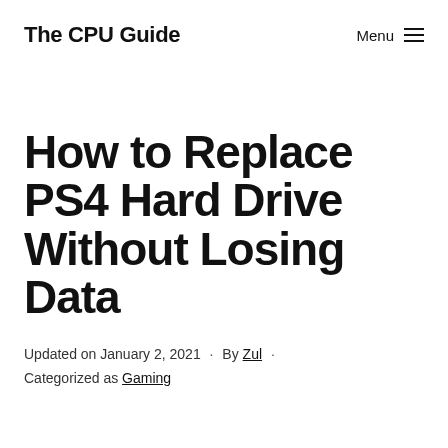The CPU Guide
How to Replace PS4 Hard Drive Without Losing Data
Updated on January 2, 2021 · By Zul · Categorized as Gaming